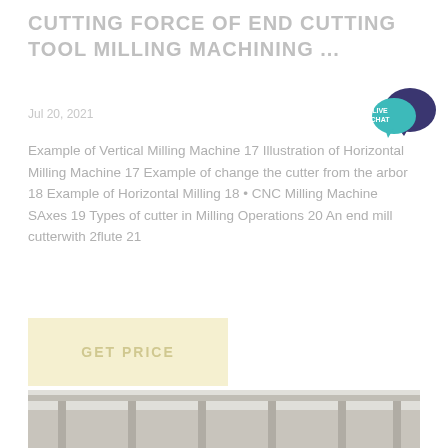CUTTING FORCE OF END CUTTING TOOL MILLING MACHINING ...
Jul 20, 2021
[Figure (illustration): Live chat speech bubble icon with teal circle and dark navy bubble, text LIVE CHAT in white]
Example of Vertical Milling Machine 17 Illustration of Horizontal Milling Machine 17 Example of change the cutter from the arbor 18 Example of Horizontal Milling 18 • CNC Milling Machine SAxes 19 Types of cutter in Milling Operations 20 An end mill cutterwith 2flute 21
GET PRICE
[Figure (photo): Photograph of industrial milling machines in a manufacturing facility, partially visible at bottom of page]